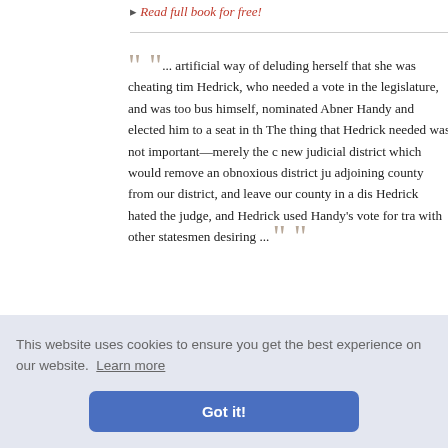▸ Read full book for free!
... artificial way of deluding herself that she was cheating tim Hedrick, who needed a vote in the legislature, and was too bus himself, nominated Abner Handy and elected him to a seat in th The thing that Hedrick needed was not important—merely the c new judicial district which would remove an obnoxious district ju adjoining county from our district, and leave our county in a dis Hedrick hated the judge, and Hedrick used Handy's vote for tra with other statesmen desiring ...
— In Our Town • William Allen White
▸ Read full book for free!
This website uses cookies to ensure you get the best experience on our website. Learn more
Got it!
inued, "n' ander all o get around fe hadn't c re out and, ver told ...
— Susan Clegg and Her Friend Mrs. Lathrop · Anne Warner